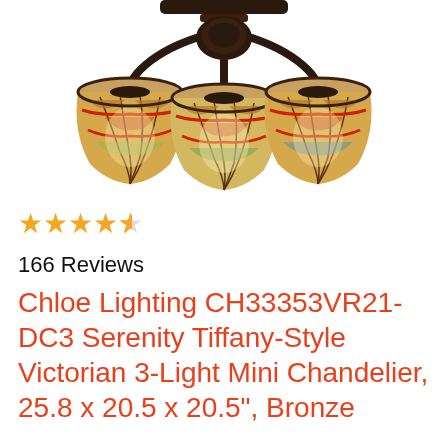[Figure (photo): Three Tiffany-style stained glass lamp shades on a bronze chandelier fixture, viewed from below/side angle. Warm amber, red, and multicolored glass panels with ornate patterns.]
★★★★½ 166 Reviews
Chloe Lighting CH33353VR21-DC3 Serenity Tiffany-Style Victorian 3-Light Mini Chandelier, 25.8 x 20.5 x 20.5", Bronze